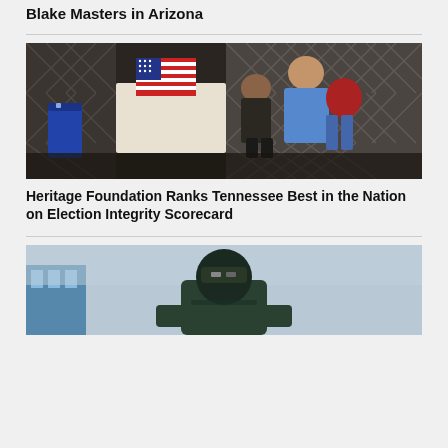Blake Masters in Arizona
[Figure (photo): People at a voting booth, including an adult and a child, with an American flag visible, inside a building with metal security grating]
Heritage Foundation Ranks Tennessee Best in the Nation on Election Integrity Scorecard
[Figure (photo): Person in a dark green hoodie and black ski mask standing outdoors, sky in background, building visible on the left]